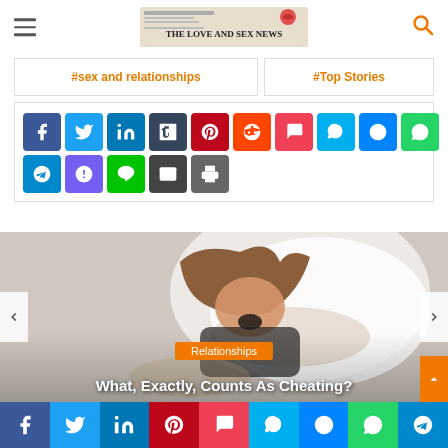THE LOVE AND SEX NEWS
#sex and relationships
#Top Stories
[Figure (other): Social sharing icon buttons: Facebook, Twitter, LinkedIn, Tumblr, Pinterest, Reddit, Pocket, Skype, Messenger, WhatsApp, Telegram, Viber, Line, Email, Print]
[Figure (photo): Photo of a couple in bed, woman looking surprised]
Relationships
What, Exactly, Counts As Cheating?
[Figure (other): Bottom social sharing bar: Facebook, Twitter, LinkedIn, Pinterest, Pocket, Skype, Messenger, WhatsApp, Telegram]